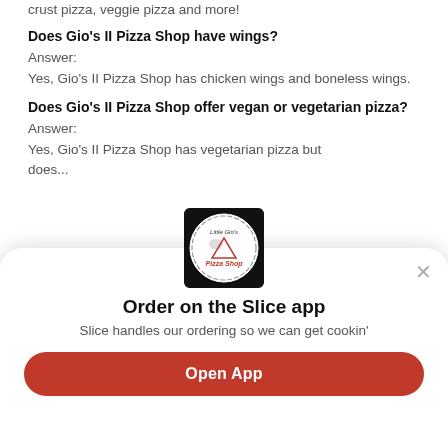crust pizza, veggie pizza and more!
Does Gio's II Pizza Shop have wings?
Answer:
Yes, Gio's II Pizza Shop has chicken wings and boneless wings.
Does Gio's II Pizza Shop offer vegan or vegetarian pizza?
Answer:
Yes, Gio's II Pizza Shop has vegetarian pizza but does...
[Figure (logo): Little Gio's Pizza Shop circular logo on black background]
Order on the Slice app
Slice handles our ordering so we can get cookin'
Open App